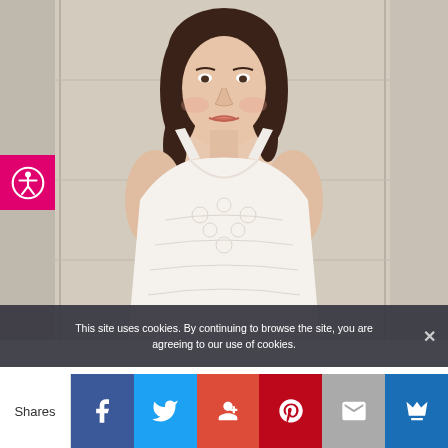[Figure (photo): Young woman in a white lace bridal dress, touching her collarbone with one hand adorned with a ring, wearing a delicate pearl necklace, with dark wavy hair, posed against a stone column background. An accessibility (wheelchair) icon button in magenta is overlaid on the left side of the image.]
This site uses cookies. By continuing to browse the site, you are agreeing to our use of cookies.
Shares